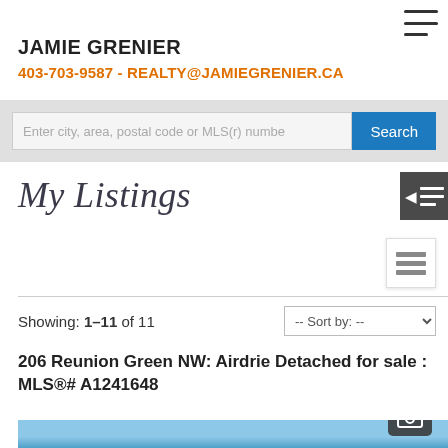JAMIE GRENIER
403-703-9587 - REALTY@JAMIEGRENIER.CA
Enter city, area, postal code or MLS(r) numbe
My Listings
Showing: 1-11 of 11
206 Reunion Green NW: Airdrie Detached for sale : MLS®# A1241648
[Figure (photo): Listing photo thumbnail with camera icon, partially visible, blue sky background]